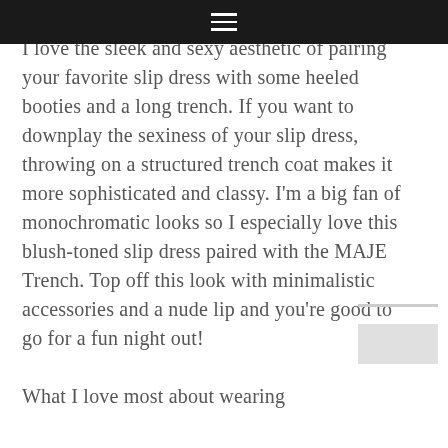☰
I love the sleek and sexy aesthetic of pairing your favorite slip dress with some heeled booties and a long trench. If you want to downplay the sexiness of your slip dress, throwing on a structured trench coat makes it more sophisticated and classy. I'm a big fan of monochromatic looks so I especially love this blush-toned slip dress paired with the MAJE Trench. Top off this look with minimalistic accessories and a nude lip and you're good to go for a fun night out!
What I love most about wearing